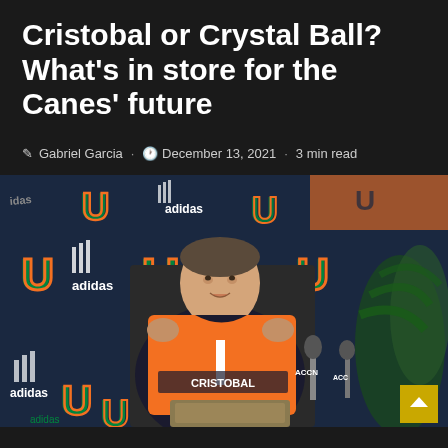Cristobal or Crystal Ball? What's in store for the Canes' future
Gabriel Garcia · December 13, 2021 · 3 min read
[Figure (photo): Mario Cristobal holding up an orange Miami Hurricanes jersey with 'CRISTOBAL' on the back, standing at a press conference podium with adidas-branded University of Miami backdrop and ACC/ACCN microphones visible]